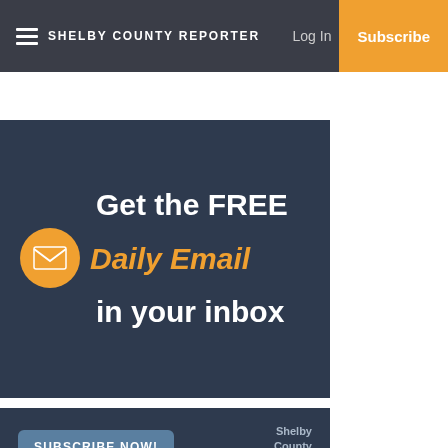Shelby County Reporter | Log In | Subscribe
[Figure (infographic): Dark blue banner with orange mail envelope circle icon and white/orange bold text: 'Get the FREE Daily Email in your inbox']
[Figure (infographic): Dark blue banner with 'SUBSCRIBE NOW!' button and Shelby County Reporter logo text]